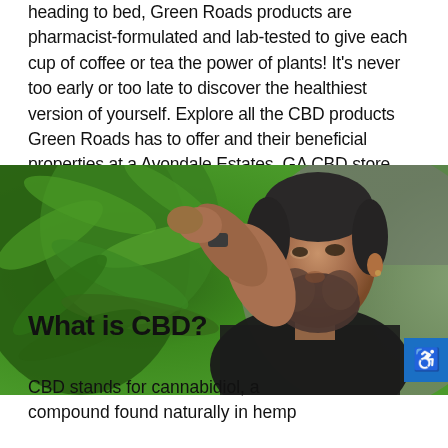heading to bed, Green Roads products are pharmacist-formulated and lab-tested to give each cup of coffee or tea the power of plants! It's never too early or too late to discover the healthiest version of yourself. Explore all the CBD products Green Roads has to offer and their beneficial properties at a Avondale Estates, GA CBD store.
[Figure (photo): A bearded man with short dark hair wearing a dark shirt examining hemp/cannabis plants outdoors. He is looking upward toward the plant he is holding with both hands. Large green hemp leaves fill the left side of the image. A corrugated metal wall is visible in the background on the right.]
What is CBD?
CBD stands for cannabidiol, a compound found naturally in hemp